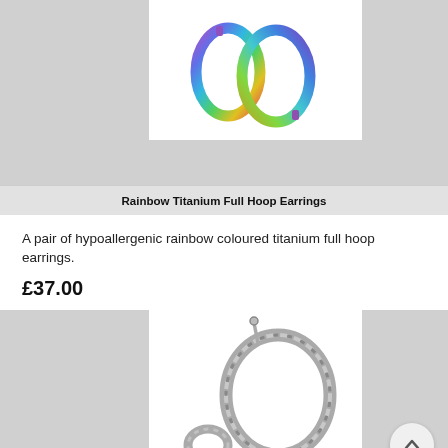[Figure (photo): Rainbow titanium full hoop earrings showing iridescent rainbow coloured oval hoops against a white background]
Rainbow Titanium Full Hoop Earrings
A pair of hypoallergenic rainbow coloured titanium full hoop earrings.
£37.00
[Figure (photo): Silver twisted rope style hoop earrings with a stud backing, shown on white background]